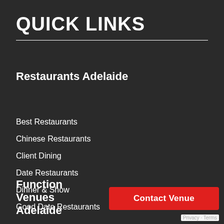QUICK LINKS
Restaurants Adelaide
Best Restaurants
Chinese Restaurants
Client Dining
Date Restaurants
Dinner & Show
Good Date Restaurants
Function Venues Adelaide
Contact Venue
Privacy · Terms